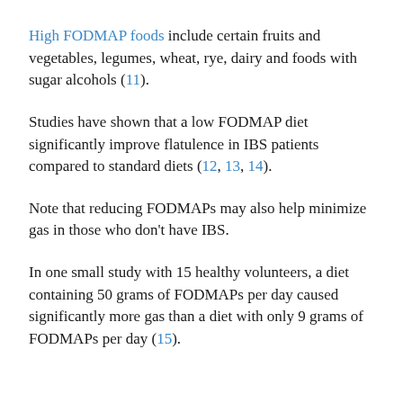High FODMAP foods include certain fruits and vegetables, legumes, wheat, rye, dairy and foods with sugar alcohols (11).
Studies have shown that a low FODMAP diet significantly improve flatulence in IBS patients compared to standard diets (12, 13, 14).
Note that reducing FODMAPs may also help minimize gas in those who don't have IBS.
In one small study with 15 healthy volunteers, a diet containing 50 grams of FODMAPs per day caused significantly more gas than a diet with only 9 grams of FODMAPs per day (15).